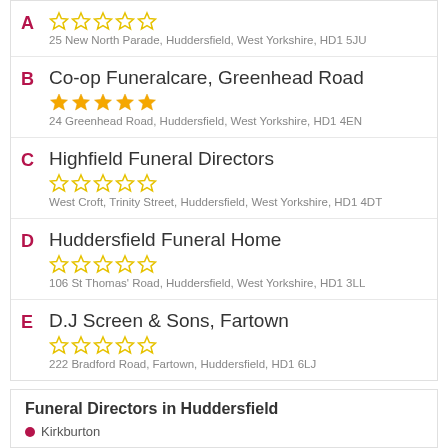A - (no name shown) - 0 stars - 25 New North Parade, Huddersfield, West Yorkshire, HD1 5JU
B - Co-op Funeralcare, Greenhead Road - 5 stars - 24 Greenhead Road, Huddersfield, West Yorkshire, HD1 4EN
C - Highfield Funeral Directors - 0 stars - West Croft, Trinity Street, Huddersfield, West Yorkshire, HD1 4DT
D - Huddersfield Funeral Home - 0 stars - 106 St Thomas' Road, Huddersfield, West Yorkshire, HD1 3LL
E - D.J Screen & Sons, Fartown - 0 stars - 222 Bradford Road, Fartown, Huddersfield, HD1 6LJ
Funeral Directors in Huddersfield
Kirkburton